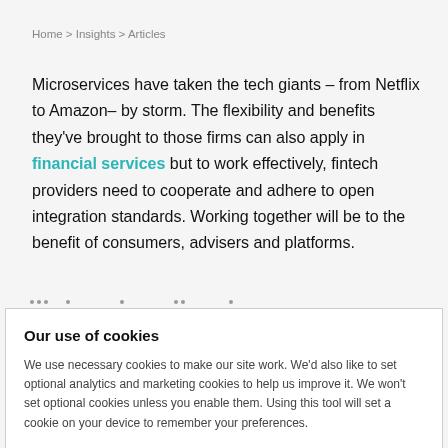Home > Insights > Articles
Microservices have taken the tech giants – from Netflix to Amazon– by storm. The flexibility and benefits they've brought to those firms can also apply in financial services but to work effectively, fintech providers need to cooperate and adhere to open integration standards. Working together will be to the benefit of consumers, advisers and platforms.
Our use of cookies
We use necessary cookies to make our site work. We'd also like to set optional analytics and marketing cookies to help us improve it. We won't set optional cookies unless you enable them. Using this tool will set a cookie on your device to remember your preferences.